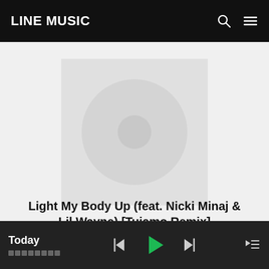LINE MUSIC
[Figure (illustration): Album art placeholder: light gray square with a gray circle and smaller center circle inside, representing a music disc/album cover]
Light My Body Up (feat. Nicki Minaj & Lil Wayne) [Tujamo Remix]
David Guetta
Today